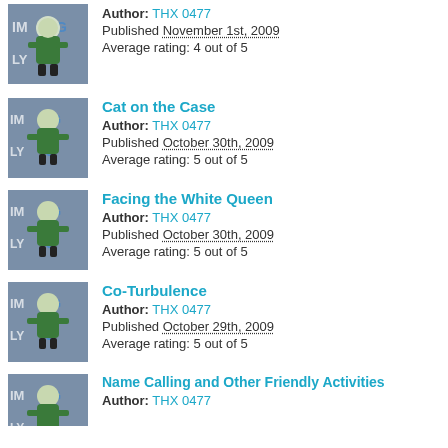Author: THX 0477 | Published November 1st, 2009 | Average rating: 4 out of 5
Cat on the Case | Author: THX 0477 | Published October 30th, 2009 | Average rating: 5 out of 5
Facing the White Queen | Author: THX 0477 | Published October 30th, 2009 | Average rating: 5 out of 5
Co-Turbulence | Author: THX 0477 | Published October 29th, 2009 | Average rating: 5 out of 5
Name Calling and Other Friendly Activities | Author: THX 0477